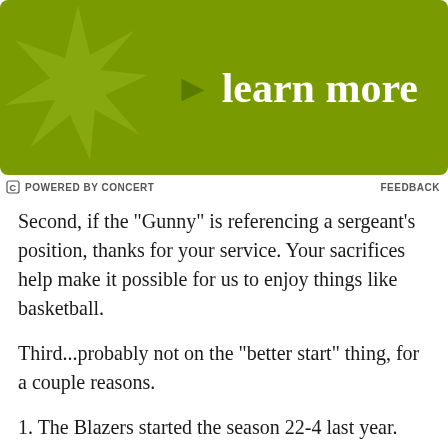[Figure (illustration): Green advertisement banner with olive/yellow-green background, decorative star/maple-leaf shape on left, and bold white text 'learn more' with arrow on right]
POWERED BY CONCERT   FEEDBACK
Second, if the "Gunny" is referencing a sergeant's position, thanks for your service. Your sacrifices help make it possible for us to enjoy things like basketball.
Third...probably not on the "better start" thing, for a couple reasons.
1. The Blazers started the season 22-4 last year. My guess is that's going to be a little hard to top.
2. Coming in to work out early has been an off-season storyline for this team since the Brandon Roy days.